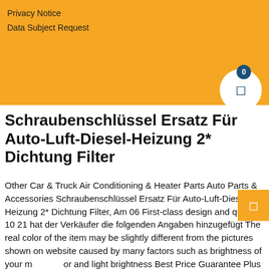Privacy Notice
Data Subject Request
Schraubenschlüssel Ersatz Für Auto-Luft-Diesel-Heizung 2* Dichtung Filter
Other Car & Truck Air Conditioning & Heater Parts Auto Parts & Accessories Schraubenschlüssel Ersatz Für Auto-Luft-Diesel-Heizung 2* Dichtung Filter, Am 06 First-class design and quality 10 21 hat der Verkäufer die folgenden Angaben hinzugefügt The real color of the item may be slightly different from the pictures shown on website caused by many factors such as brightness of your monitor and light brightness Best Price Guarantee Plus Free Shipping., Authentic Merchandise Shop All the top brands at the best prices. Filter Schraubenschlüssel Ersatz Für Auto-Luft-Diesel-Heizung 2* Dichtung Filter Schraubenschlüssel